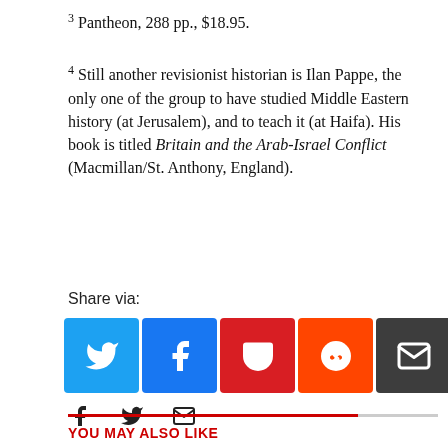3 Pantheon, 288 pp., $18.95.
4 Still another revisionist historian is Ilan Pappe, the only one of the group to have studied Middle Eastern history (at Jerusalem), and to teach it (at Haifa). His book is titled Britain and the Arab-Israel Conflict (Macmillan/St. Anthony, England).
Share via:
[Figure (infographic): Social share buttons: Twitter (blue), Facebook (blue), Pocket (red), Reddit (orange), Email (dark), and a More button]
[Figure (infographic): Small social icons row: Facebook, Twitter, Email]
YOU MAY ALSO LIKE